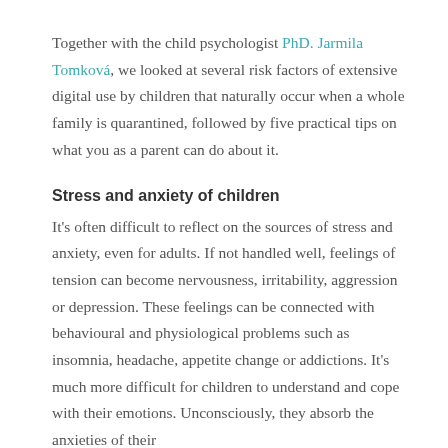Together with the child psychologist PhD. Jarmila Tomková, we looked at several risk factors of extensive digital use by children that naturally occur when a whole family is quarantined, followed by five practical tips on what you as a parent can do about it.
Stress and anxiety of children
It's often difficult to reflect on the sources of stress and anxiety, even for adults. If not handled well, feelings of tension can become nervousness, irritability, aggression or depression. These feelings can be connected with behavioural and physiological problems such as insomnia, headache, appetite change or addictions. It's much more difficult for children to understand and cope with their emotions. Unconsciously, they absorb the anxieties of their